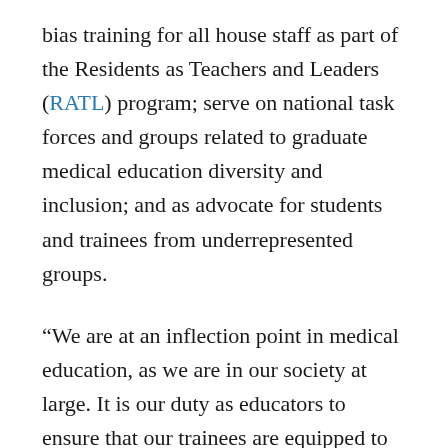bias training for all house staff as part of the Residents as Teachers and Leaders (RATL) program; serve on national task forces and groups related to graduate medical education diversity and inclusion; and as advocate for students and trainees from underrepresented groups.
“We are at an inflection point in medical education, as we are in our society at large. It is our duty as educators to ensure that our trainees are equipped to shape an equitable health care system. This starts with recognizing our own biases and how they may impact care delivery,” Suleiman said. “I am looking forward to promoting Feinberg’s policies and procedures related to diversity, equity and inclusion